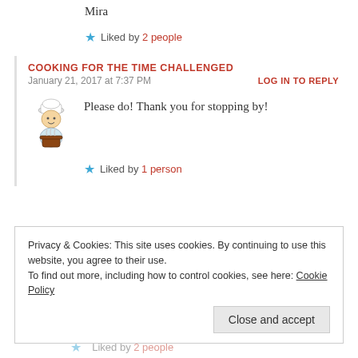Mira
Liked by 2 people
COOKING FOR THE TIME CHALLENGED
January 21, 2017 at 7:37 PM
LOG IN TO REPLY
[Figure (illustration): Chef cartoon avatar with chef hat holding a cooking pot]
Please do! Thank you for stopping by!
Liked by 1 person
Privacy & Cookies: This site uses cookies. By continuing to use this website, you agree to their use. To find out more, including how to control cookies, see here: Cookie Policy
Close and accept